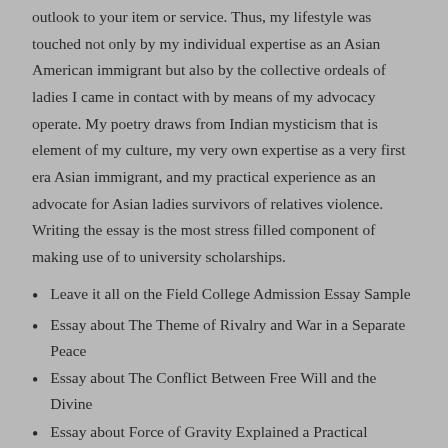outlook to your item or service. Thus, my lifestyle was touched not only by my individual expertise as an Asian American immigrant but also by the collective ordeals of ladies I came in contact with by means of my advocacy operate. My poetry draws from Indian mysticism that is element of my culture, my very own expertise as a very first era Asian immigrant, and my practical experience as an advocate for Asian ladies survivors of relatives violence. Writing the essay is the most stress filled component of making use of to university scholarships.
Leave it all on the Field College Admission Essay Sample
Essay about The Theme of Rivalry and War in a Separate Peace
Essay about The Conflict Between Free Will and the Divine
Essay about Force of Gravity Explained a Practical